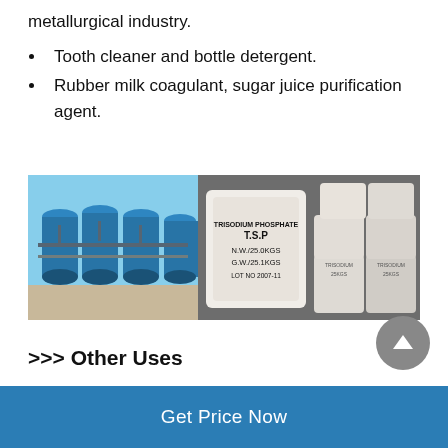metallurgical industry.
Tooth cleaner and bottle detergent.
Rubber milk coagulant, sugar juice purification agent.
[Figure (photo): Left: industrial blue water treatment tanks with piping. Center: white bag labeled TRISODIUM PHOSPHATE T.S.P N.W./25.0KGS G.W./25.1KGS LOT NO 2007-11. Right: stacked white bags of product.]
>>> Other Uses
Pharmaceutical manufacturing industry. Raw materials of health care drugs, biological drugs, base materials, etc...
It can replace glycerine as a flavoring of tobacco.
For all kinds